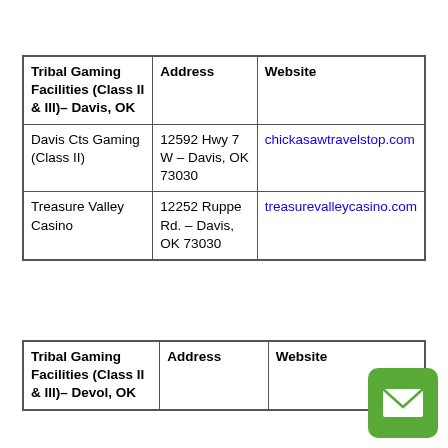| Tribal Gaming Facilities (Class II & III)– Davis, OK | Address | Website |
| --- | --- | --- |
| Davis Cts Gaming (Class II) | 12592 Hwy 7 W – Davis, OK 73030 | chickasaw travelstop.com |
| Treasure Valley Casino | 12252 Ruppe Rd. – Davis, OK 73030 | treasurevalleycasino.com |
| Tribal Gaming Facilities (Class II & III)– Devol, OK | Address | Website |
| --- | --- | --- |